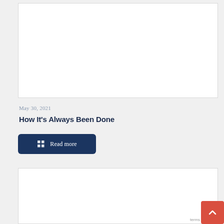[Figure (photo): White blank image area / placeholder at top]
May 30, 2021
How It's Always Been Done
Read more
[Figure (photo): White blank image area / placeholder at bottom]